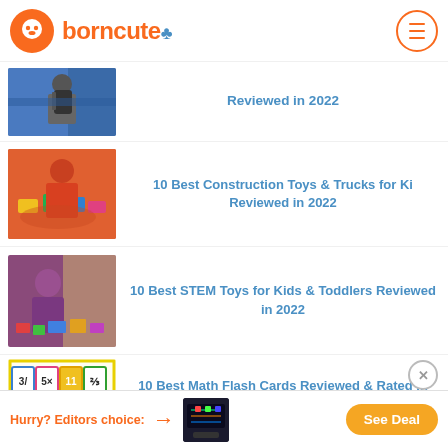borncute
[Figure (photo): Person with backpack at airport/transit area]
Reviewed in 2022
[Figure (photo): Child playing with colorful construction toys and trucks]
10 Best Construction Toys & Trucks for Ki Reviewed in 2022
[Figure (photo): Child playing with STEM toys, colorful building pieces]
10 Best STEM Toys for Kids & Toddlers Reviewed in 2022
[Figure (photo): Math flash cards with numbers and arithmetic symbols]
10 Best Math Flash Cards Reviewed & Rated in 2022
Hurry? Editors choice: [arrow] [product image] See Deal